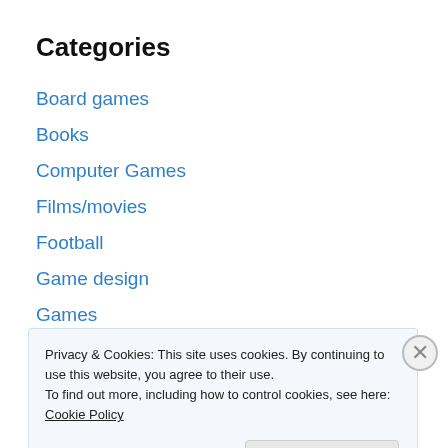Categories
Board games
Books
Computer Games
Films/movies
Football
Game design
Games
League of Extraordinary Bloggers
Music
Running
Sport
Privacy & Cookies: This site uses cookies. By continuing to use this website, you agree to their use.
To find out more, including how to control cookies, see here: Cookie Policy
Close and accept